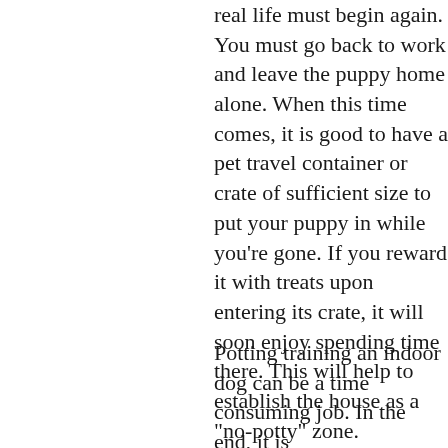real life must begin again. You must go back to work and leave the puppy home alone. When this time comes, it is good to have a pet travel container or crate of sufficient size to put your puppy in while you're gone. If you reward it with treats upon entering its crate, it will soon enjoy spending time there. This will help to establish the house as a "no-potty" zone.
Potting training an indoor dog can be a time consuming job. In the end, it is